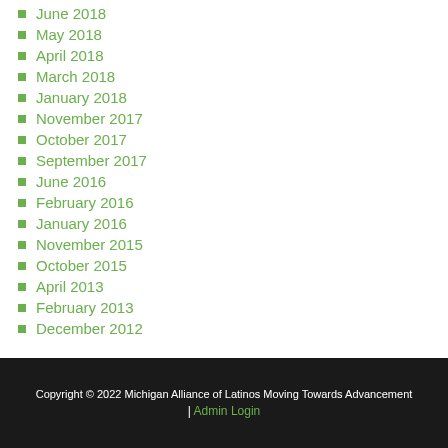June 2018
May 2018
April 2018
March 2018
January 2018
November 2017
October 2017
September 2017
June 2016
February 2016
January 2016
November 2015
October 2015
April 2013
February 2013
December 2012
Copyright © 2022 Michigan Alliance of Latinos Moving Towards Advancement | Admin Login